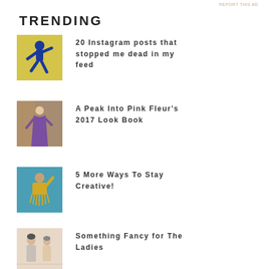REPORT THIS AD
TRENDING
[Figure (photo): Person in blue bodysuit on yellow background, dancing pose]
20 Instagram posts that stopped me dead in my feed
[Figure (photo): Woman in purple flowing dress in interior setting]
A Peak Into Pink Fleur's 2017 Look Book
[Figure (photo): Woman in yellow fringe jacket, teal background]
5 More Ways To Stay Creative!
[Figure (photo): Vintage-style illustration of two women]
Something Fancy for The Ladies